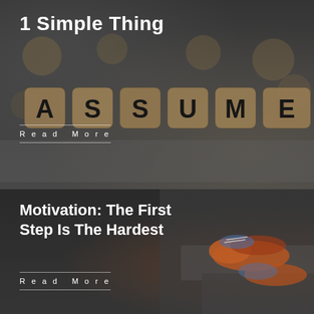1 Simple Thing
Read More
[Figure (photo): Wooden letter dice spelling ASSUME on a dark surface with blurred dice in background]
Motivation: The First Step Is The Hardest
Read More
[Figure (photo): Close-up of person's feet in orange running shoes on dark concrete steps]